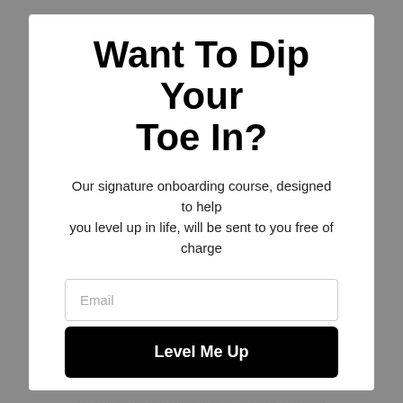Want To Dip Your Toe In?
Our signature onboarding course, designed to help you level up in life, will be sent to you free of charge
Email
Level Me Up
By signing up, you agree to receive email marketing
No, thanks